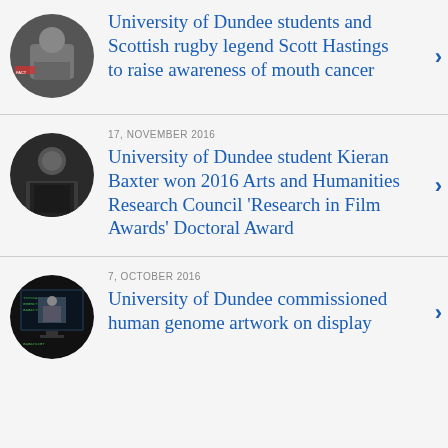[Figure (photo): Circular thumbnail photo of a person holding a sign]
University of Dundee students and Scottish rugby legend Scott Hastings to raise awareness of mouth cancer
17, NOVEMBER 2016
[Figure (photo): Circular thumbnail photo of a woman at an event]
University of Dundee student Kieran Baxter won 2016 Arts and Humanities Research Council ‘Research in Film Awards’ Doctoral Award
7, OCTOBER 2016
[Figure (photo): Circular thumbnail of a screen showing DNA sequence text and a man on a monitor]
University of Dundee commissioned human genome artwork on display